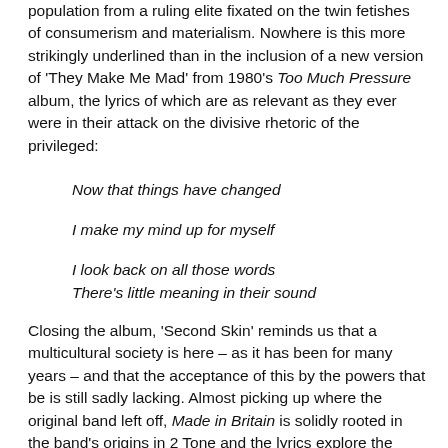population from a ruling elite fixated on the twin fetishes of consumerism and materialism. Nowhere is this more strikingly underlined than in the inclusion of a new version of 'They Make Me Mad' from 1980's Too Much Pressure album, the lyrics of which are as relevant as they ever were in their attack on the divisive rhetoric of the privileged:
Now that things have changed
I make my mind up for myself
I look back on all those words
There's little meaning in their sound
Closing the album, 'Second Skin' reminds us that a multicultural society is here – as it has been for many years – and that the acceptance of this by the powers that be is still sadly lacking. Almost picking up where the original band left off, Made in Britain is solidly rooted in the band's origins in 2 Tone and the lyrics explore the social and political issues which continue to face us all in 21st century multicultural Britain. Interviewed by Alistair McGeorge for Female First in the same week that the